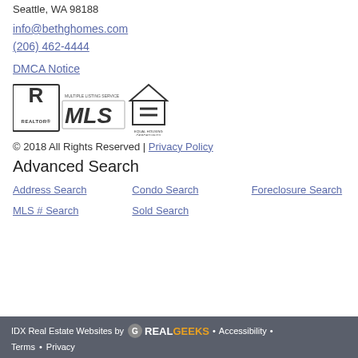Seattle, WA 98188
info@bethghomes.com
(206) 462-4444
DMCA Notice
[Figure (logo): REALTOR MLS Multiple Listing Service and Equal Housing Opportunity logos]
© 2018 All Rights Reserved | Privacy Policy
Advanced Search
Address Search
Condo Search
Foreclosure Search
MLS # Search
Sold Search
IDX Real Estate Websites by RealGeeks • Accessibility • Terms • Privacy